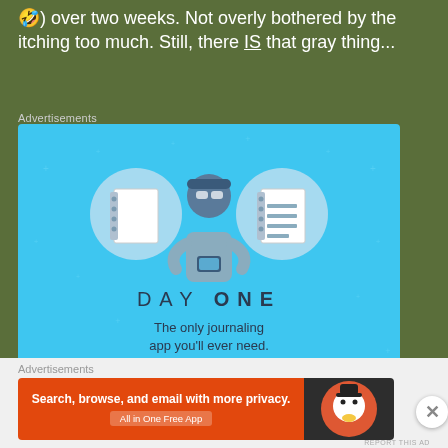🤣) over two weeks. Not overly bothered by the itching too much. Still, there IS that gray thing...
Advertisements
[Figure (illustration): Day One journaling app advertisement on light blue background. Shows illustrated icons of notebooks and a person holding a phone, with text 'DAY ONE', 'The only journaling app you'll ever need.' and a 'Get the app' button.]
REPORT THIS AD
Advertisements
[Figure (illustration): DuckDuckGo advertisement. Left half is orange with text 'Search, browse, and email with more privacy. All in One Free App'. Right half is dark with DuckDuckGo duck logo.]
REPORT THIS AD